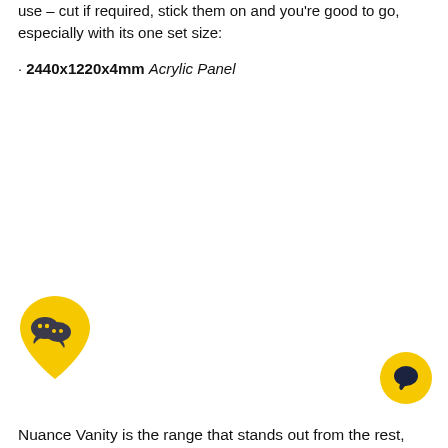use – cut if required, stick them on and you're good to go, especially with its one set size:
2440x1220x4mm Acrylic Panel
[Figure (illustration): Yellow teardrop/pin shaped WeChat icon with two overlapping chat bubble faces (dark grey) on yellow background]
[Figure (illustration): Small round yellow chat bubble icon with dark speech bubble symbol, positioned bottom right]
Nuance Vanity is the range that stands out from the rest,